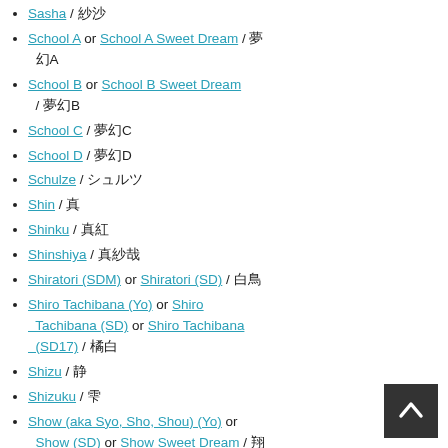Sasha / □□□
School A or School A Sweet Dream / □□A
School B or School B Sweet Dream / □□B
School C / □□□C
School D / □□□D
Schulze / □□□□
Shin / □□
Shinku / □□
Shinshiya / □□□□
Shiratori (SDM) or Shiratori (SD) / □□
Shiro Tachibana (Yo) or Shiro Tachibana (SD) or Shiro Tachibana (SD17) / □□□
Shizu / □
Shizuku / □□□
Show (aka Syo, Sho, Shou) (Yo) or Show (SD) or Show Sweet Dream / □